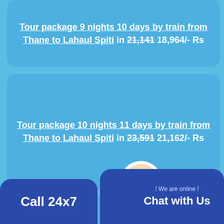Tour package 9 nights 10 days by train from Thane to Lahaul Spiti in 21,141 (strikethrough) 18,964/- Rs
Tour package 10 nights 11 days by train from Thane to Lahaul Spiti in 23,591 (strikethrough) 21,162/- Rs
11 nights ... Lahaul Sp... (partially visible)
Call 24x7
! We are online ! Chat with Us